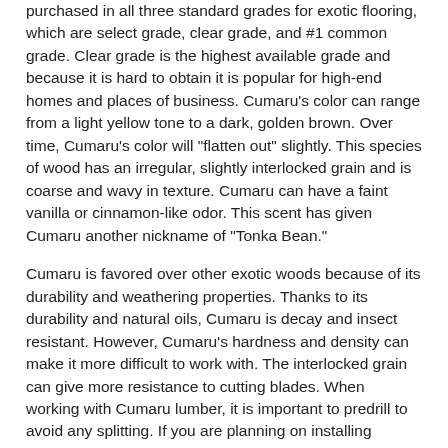purchased in all three standard grades for exotic flooring, which are select grade, clear grade, and #1 common grade. Clear grade is the highest available grade and because it is hard to obtain it is popular for high-end homes and places of business. Cumaru's color can range from a light yellow tone to a dark, golden brown. Over time, Cumaru's color will "flatten out" slightly. This species of wood has an irregular, slightly interlocked grain and is coarse and wavy in texture. Cumaru can have a faint vanilla or cinnamon-like odor. This scent has given Cumaru another nickname of "Tonka Bean."
Cumaru is favored over other exotic woods because of its durability and weathering properties. Thanks to its durability and natural oils, Cumaru is decay and insect resistant. However, Cumaru's hardness and density can make it more difficult to work with. The interlocked grain can give more resistance to cutting blades. When working with Cumaru lumber, it is important to predrill to avoid any splitting. If you are planning on installing Cumaru hardwood floors, it can be beneficial to purchase prefinished lumber. It will reduce installation time and make installation easier. Prefinished Cumaru can be a cheaper alternative when installing hardwood floors in your home.
Contact Hurst Hardwoods